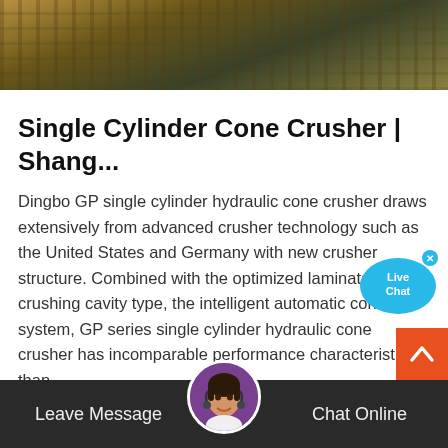[Figure (photo): Top banner image showing industrial cone crusher machinery with metal parts, yellow and brown tones]
Single Cylinder Cone Crusher | Shang...
Dingbo GP single cylinder hydraulic cone crusher draws extensively from advanced crusher technology such as the United States and Germany with new crusher structure. Combined with the optimized laminated crushing cavity type, the intelligent automatic control system, GP series single cylinder hydraulic cone crusher has incomparable performance characteristics than …
Read More
Leave Message   Chat Online